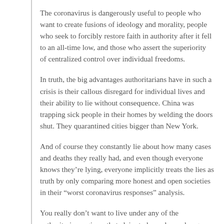The coronavirus is dangerously useful to people who want to create fusions of ideology and morality, people who seek to forcibly restore faith in authority after it fell to an all-time low, and those who assert the superiority of centralized control over individual freedoms.
In truth, the big advantages authoritarians have in such a crisis is their callous disregard for individual lives and their ability to lie without consequence. China was trapping sick people in their homes by welding the doors shut. They quarantined cities bigger than New York.
And of course they constantly lie about how many cases and deaths they really had, and even though everyone knows they’re lying, everyone implicitly treats the lies as truth by only comparing more honest and open societies in their “worst coronavirus responses” analysis.
You really don’t want to live under any of the authoritarian regimes that claim to have done a bang-up job of handling the coronavirus. Even if their claims were true – and they aren’t – you wouldn’t want to live through the measures they imposed on outbreak areas.